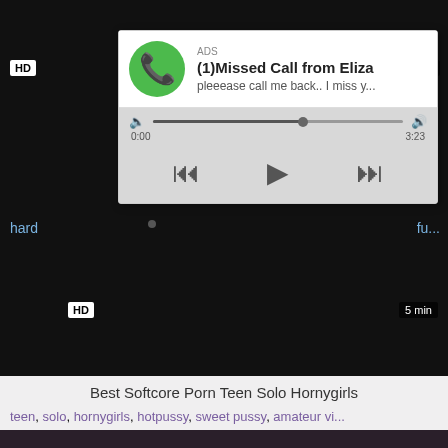[Figure (screenshot): Video player thumbnail showing dark/black video content with HD badge and min badge, partially obscured by an audio ad popup overlay]
[Figure (screenshot): Audio advertisement popup showing green phone icon, title '(1)Missed Call from Eliza', subtitle 'pleeease call me back.. I miss y...', audio scrubber bar with playback controls (rewind, play, fast-forward), time display 0:00 and 3:23]
hard... fu...
Best Softcore Porn Teen Solo Hornygirls
teen, solo, hornygirls, hotpussy, sweet pussy, amateur vi...